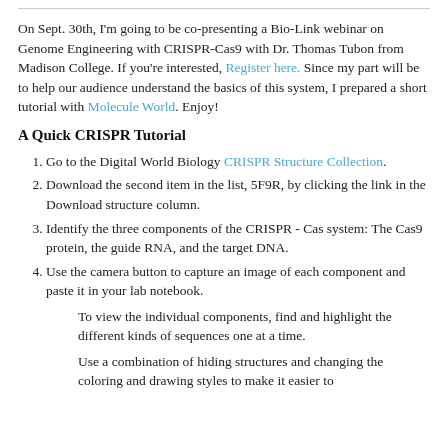On Sept. 30th, I'm going to be co-presenting a Bio-Link webinar on Genome Engineering with CRISPR-Cas9 with Dr. Thomas Tubon from Madison College.  If you're interested, Register here.  Since my part will be to help our audience understand the basics of this system, I prepared a short tutorial with Molecule World.  Enjoy!
A Quick CRISPR Tutorial
Go to the Digital World Biology CRISPR Structure Collection.
Download the second item in the list, 5F9R, by clicking the link in the Download structure column.
Identify the three components of the CRISPR - Cas system: The Cas9 protein, the guide RNA, and the target DNA.
Use the camera button to capture an image of each component and paste it in your lab notebook.
To view the individual components, find and highlight the different kinds of sequences one at a time.
Use a combination of hiding structures and changing the coloring and drawing styles to make it easier to